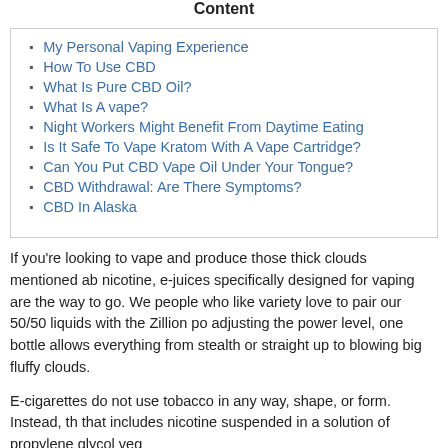Content
My Personal Vaping Experience
How To Use CBD
What Is Pure CBD Oil?
What Is A vape?
Night Workers Might Benefit From Daytime Eating
Is It Safe To Vape Kratom With A Vape Cartridge?
Can You Put CBD Vape Oil Under Your Tongue?
CBD Withdrawal: Are There Symptoms?
CBD In Alaska
If you're looking to vape and produce those thick clouds mentioned ab nicotine, e-juices specifically designed for vaping are the way to go. We people who like variety love to pair our 50/50 liquids with the Zillion po adjusting the power level, one bottle allows everything from stealth or straight up to blowing big fluffy clouds.
E-cigarettes do not use tobacco in any way, shape, or form. Instead, th that includes nicotine suspended in a solution of propylene glycol veg